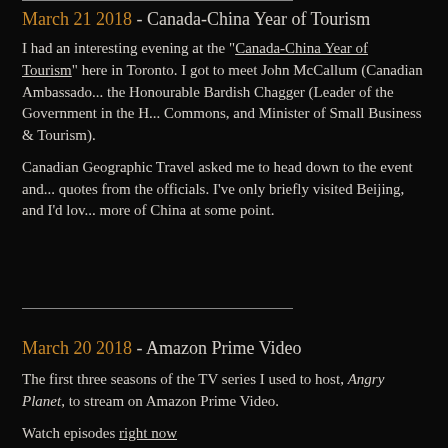March 21 2018 - Canada-China Year of Tourism
I had an interesting evening at the "Canada-China Year of Tourism" here in Toronto. I got to meet John McCallum (Canadian Ambassador...) the Honourable Bardish Chagger (Leader of the Government in the House of Commons, and Minister of Small Business & Tourism).
Canadian Geographic Travel asked me to head down to the event and get quotes from the officials. I've only briefly visited Beijing, and I'd love to see more of China at some point.
March 20 2018 - Amazon Prime Video
The first three seasons of the TV series I used to host, Angry Planet, to stream on Amazon Prime Video.
Watch episodes right now